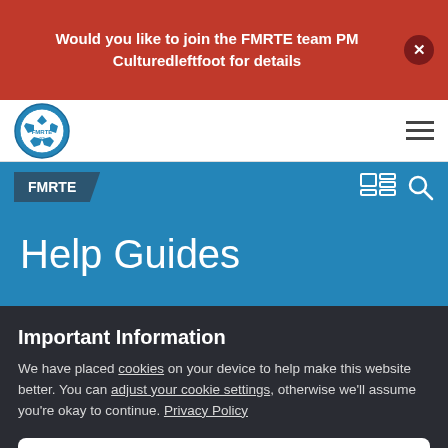Would you like to join the FMRTE team PM Culturedleftfoot for details
[Figure (logo): FMRTE 22 logo - circular badge with football/soccer ball design]
FMRTE
Help Guides
Important Information
We have placed cookies on your device to help make this website better. You can adjust your cookie settings, otherwise we'll assume you're okay to continue. Privacy Policy
✓ I accept